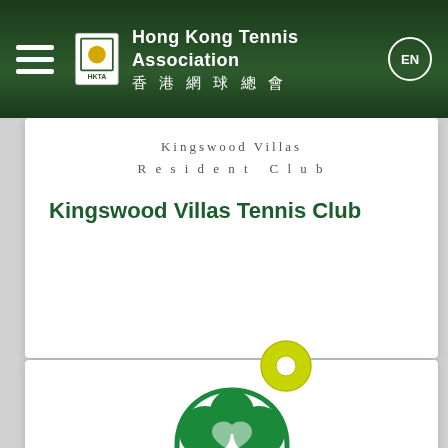Hong Kong Tennis Association 香港網球總會
[Figure (logo): Kingswood Villas Resident Club logo text in spaced serif font]
Kingswood Villas Tennis Club
[Figure (logo): 康怡花園俱樂部 (Hoi Lok Yuen Club) green tree logo with Chinese text 康怡花園 and 俱樂部]
[Figure (other): BACK TO TOP circular button with triangle arrow]